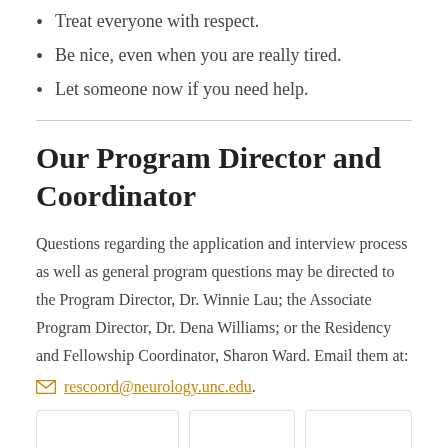Treat everyone with respect.
Be nice, even when you are really tired.
Let someone now if you need help.
Our Program Director and Coordinator
Questions regarding the application and interview process as well as general program questions may be directed to the Program Director, Dr. Winnie Lau; the Associate Program Director, Dr. Dena Williams; or the Residency and Fellowship Coordinator, Sharon Ward. Email them at:
rescoord@neurology.unc.edu.
[Figure (other): Three card placeholders at the bottom of the page]